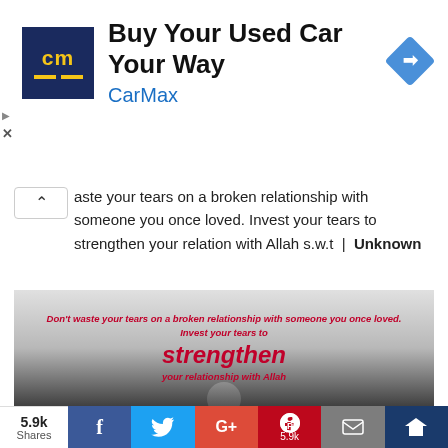[Figure (screenshot): CarMax advertisement banner with logo (cm in blue background), title 'Buy Your Used Car Your Way', brand name 'CarMax' in blue, and a blue diamond navigation icon]
Don't waste your tears on a broken relationship with someone you once loved. Invest your tears to strengthen your relation with Allah s.w.t | Unknown
[Figure (photo): Inspirational quote image with dark grayscale background showing text: 'Don't waste your tears on a broken relationship with someone you once loved. Invest your tears to strengthen your relationship with Allah' in red/crimson italic text on a misty lake or road background]
[Figure (infographic): Social share bar showing 5.9k Shares, Facebook, Twitter, Google+, Pinterest (5.9k), Email, and crown/bookmark buttons]